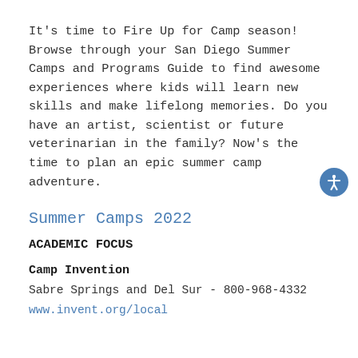It's time to Fire Up for Camp season! Browse through your San Diego Summer Camps and Programs Guide to find awesome experiences where kids will learn new skills and make lifelong memories. Do you have an artist, scientist or future veterinarian in the family? Now's the time to plan an epic summer camp adventure.
Summer Camps 2022
ACADEMIC FOCUS
Camp Invention
Sabre Springs and Del Sur - 800-968-4332
www.invent.org/local